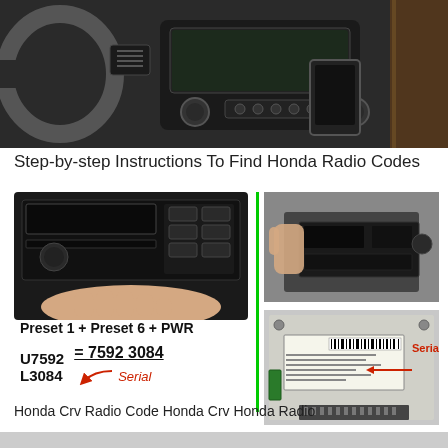[Figure (photo): Photo of Honda car interior dashboard and center console with radio/infotainment system visible]
Step-by-step Instructions To Find Honda Radio Codes
[Figure (photo): Composite image showing: (left) hand pressing preset buttons on Honda radio; (center) green vertical dividing line; (right top) hand pulling out Honda radio unit; (right bottom) back of radio unit showing serial number label with red arrow pointing to serial number. Left side shows text: Preset 1 + Preset 6 + PWR, U7592 L3084 = 7592 3084 with red arrow labeled Serial]
Honda Crv Radio Code Honda Crv Honda Radio